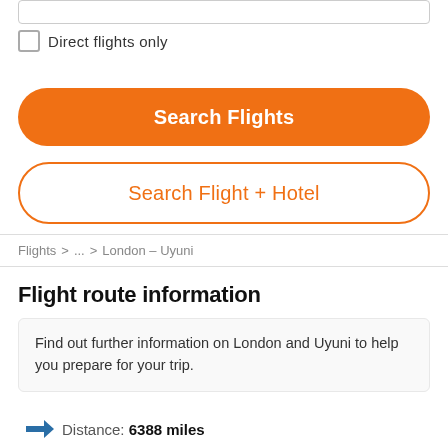Direct flights only
Search Flights
Search Flight + Hotel
Flights > ... > London – Uyuni
Flight route information
Find out further information on London and Uyuni to help you prepare for your trip.
Distance: 6388 miles